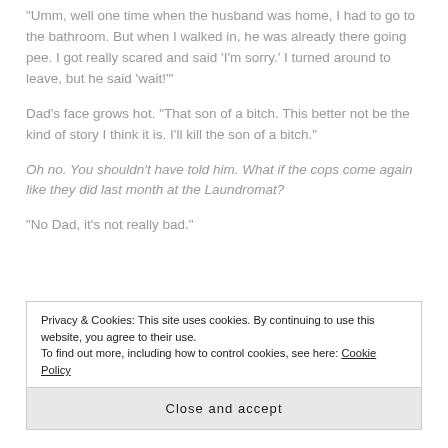“Umm, well one time when the husband was home, I had to go to the bathroom. But when I walked in, he was already there going pee. I got really scared and said ‘I’m sorry.’ I turned around to leave, but he said ‘wait!’”
Dad’s face grows hot. “That son of a bitch. This better not be the kind of story I think it is. I’ll kill the son of a bitch.”
Oh no. You shouldn’t have told him. What if the cops come again like they did last month at the Laundromat?
“No Dad, it’s not really bad.”
Privacy & Cookies: This site uses cookies. By continuing to use this website, you agree to their use.
To find out more, including how to control cookies, see here: Cookie Policy
Close and accept